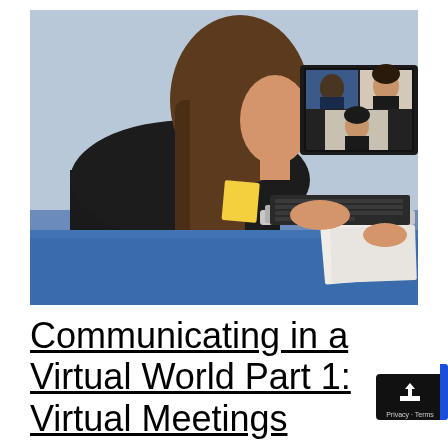[Figure (photo): A woman with long brown hair, wearing a black jacket, viewed from behind/side, sitting at a blue desk working on a laptop. The laptop screen shows a video conference with three participants visible in separate windows. Papers and documents are on the desk.]
Communicating in a Virtual World Part 1: Virtual Meetings